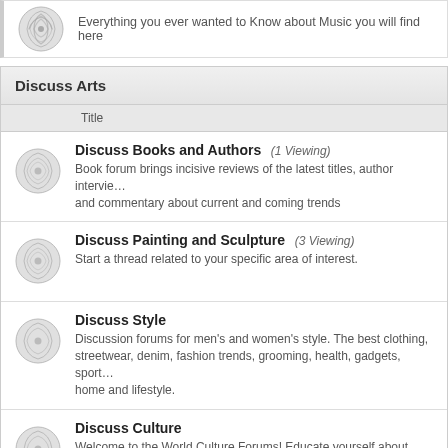Everything you ever wanted to Know about Music you will find here
Discuss Arts
Title
Discuss Books and Authors (1 Viewing) - Book forum brings incisive reviews of the latest titles, author interviews, and commentary about current and coming trends
Discuss Painting and Sculpture (3 Viewing) - Start a thread related to your specific area of interest.
Discuss Style - Discussion forums for men's and women's style. The best clothing, streetwear, denim, fashion trends, grooming, health, gadgets, sports, home and lifestyle.
Discuss Culture - Welcome to the World Culture Forums! Educate yourself about world culture